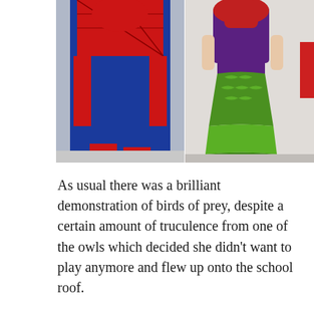[Figure (photo): Two people in costumes side by side. Left: person in full Spider-Man red and blue costume standing on pavement. Right: person wearing a purple top with red hair and a green metallic mermaid tail skirt, standing outdoors.]
As usual there was a brilliant demonstration of birds of prey, despite a certain amount of truculence from one of the owls which decided she didn't want to play anymore and flew up onto the school roof.